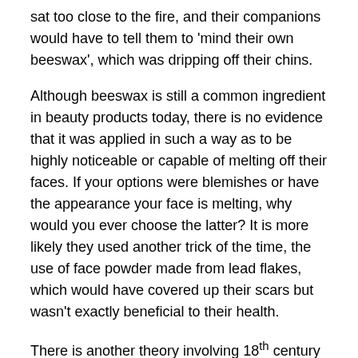sat too close to the fire, and their companions would have to tell them to 'mind their own beeswax', which was dripping off their chins.
Although beeswax is still a common ingredient in beauty products today, there is no evidence that it was applied in such a way as to be highly noticeable or capable of melting off their faces. If your options were blemishes or have the appearance your face is melting, why would you ever choose the latter? It is more likely they used another trick of the time, the use of face powder made from lead flakes, which would have covered up their scars but wasn't exactly beneficial to their health.
There is another theory involving 18th century candle making, but it holds little water as, by the mid-18th century, beeswax was being commonly replaced by animal fat in